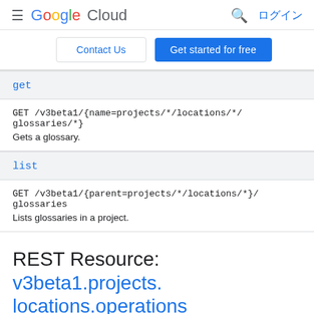≡ Google Cloud  🔍 ログイン
Contact Us | Get started for free
get
GET /v3beta1/{name=projects/*/locations/*/glossaries/*}
Gets a glossary.
list
GET /v3beta1/{parent=projects/*/locations/*}/glossaries
Lists glossaries in a project.
REST Resource: v3beta1.projects.locations.operations